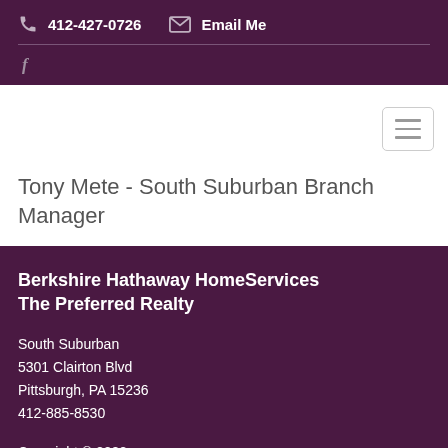412-427-0726   Email Me
f
[Figure (other): Hamburger menu icon button with three horizontal lines]
Tony Mete - South Suburban Branch Manager
Berkshire Hathaway HomeServices The Preferred Realty
South Suburban
5301 Clairton Blvd
Pittsburgh, PA 15236
412-885-8530
Copyright © 2022
All Rights Reserved